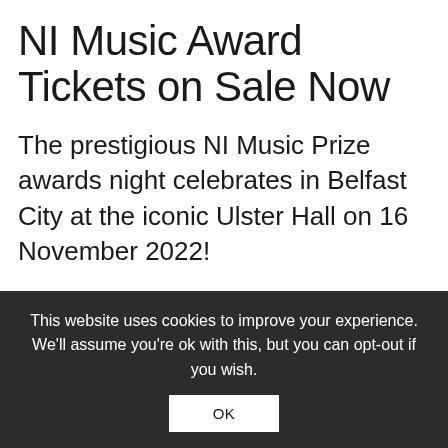NI Music Award Tickets on Sale Now
The prestigious NI Music Prize awards night celebrates in Belfast City at the iconic Ulster Hall on 16 November 2022!
The NI Music Prize is an annual music awards event acknowledging the best of music from Northern Ireland over the last twelve months.
This website uses cookies to improve your experience. We'll assume you're ok with this, but you can opt-out if you wish. OK